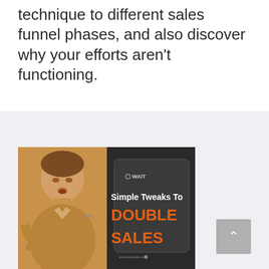technique to different sales funnel phases, and also discover why your efforts aren't functioning.
[Figure (screenshot): Video thumbnail showing a man on the left in sepia tone and on the right a dark background with text 'Simple Tweaks To DOUBLE SALES']